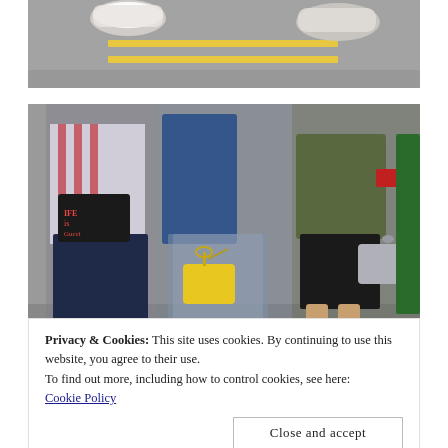[Figure (photo): Top portion of street scene with asphalt road showing yellow lines and partial view of sneakers/feet]
[Figure (photo): Street style fashion photo showing three women walking, one holding a black clutch bag reading 'Life is Gucci', one in blue velvet jacket holding a yellow chain bag and sheer grey maxi skirt, one in green army jacket and black leather mini skirt holding a grey bag]
Privacy & Cookies: This site uses cookies. By continuing to use this website, you agree to their use.
To find out more, including how to control cookies, see here:
Cookie Policy
Close and accept
[Figure (photo): Bottom partial street style photo, partially cut off]